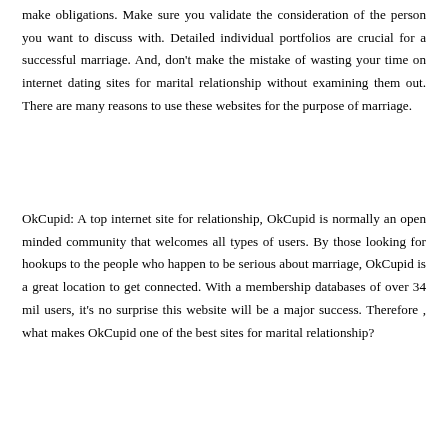make obligations. Make sure you validate the consideration of the person you want to discuss with. Detailed individual portfolios are crucial for a successful marriage. And, don't make the mistake of wasting your time on internet dating sites for marital relationship without examining them out. There are many reasons to use these websites for the purpose of marriage.
OkCupid: A top internet site for relationship, OkCupid is normally an open minded community that welcomes all types of users. By those looking for hookups to the people who happen to be serious about marriage, OkCupid is a great location to get connected. With a membership databases of over 34 mil users, it's no surprise this website will be a major success. Therefore , what makes OkCupid one of the best sites for marital relationship?